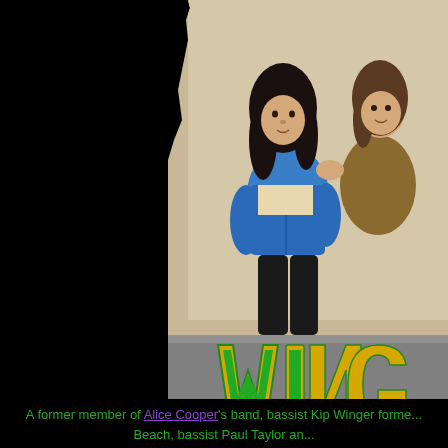[Figure (photo): Two musicians from the band Winger posed together against a torn-edge background, wearing blue denim jackets. Behind them is the green and gold Winger band logo. The left half of the page is black.]
A former member of Alice Cooper's band, bassist Kip Winger forme... Beach, bassist Paul Taylor an...